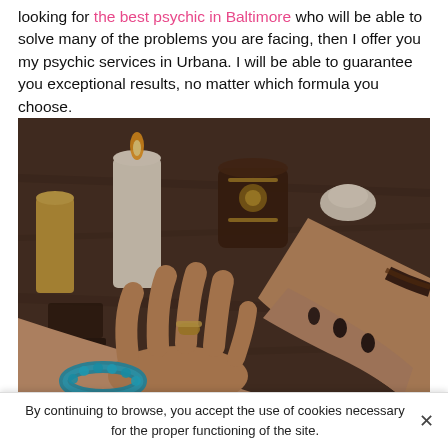looking for the best psychic in Baltimore who will be able to solve many of the problems you are facing, then I offer you my psychic services in Urbana. I will be able to guarantee you exceptional results, no matter which formula you choose.
[Figure (photo): Photo of two hands on a wooden table during a psychic palm reading session, with candles and mystical objects in the background. One person wears a turquoise beaded bracelet and a decorative ring; the other wears a dark bracelet with black nail polish.]
By continuing to browse, you accept the use of cookies necessary for the proper functioning of the site.